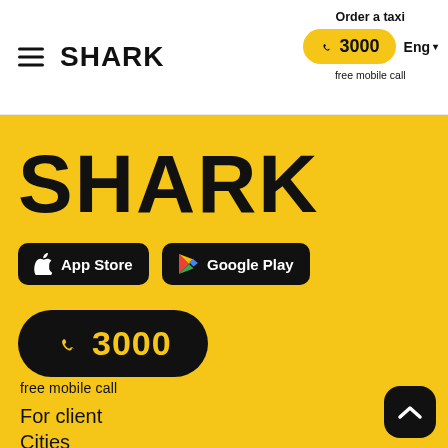SHARK | Order a taxi | ☎ 3000 | Eng | free mobile call
SHARK
[Figure (screenshot): App Store download button (black rounded rectangle with Apple logo)]
[Figure (screenshot): Google Play download button (black rounded rectangle with Google Play logo)]
☎ 3000
free mobile call
For client
Cities